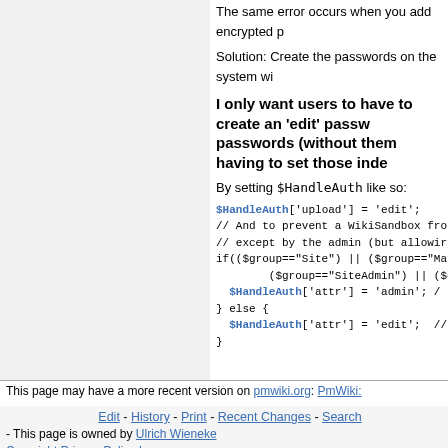The same error occurs when you add encrypted p
Solution: Create the passwords on the system wi
I only want users to have to create an 'edit' passw passwords (without them having to set those inde
By setting $HandleAuth like so:
$HandleAuth['upload'] = 'edit';
// And to prevent a WikiSandbox fro
// except by the admin (but allowin
if(($group=="Site") || ($group=="Ma
        ($group=="SiteAdmin") || ($g
  $HandleAuth['attr'] = 'admin'; /
} else {
  $HandleAuth['attr'] = 'edit';  //
}
This page may have a more recent version on pmwiki.org: PmWiki:
Edit - History - Print - Recent Changes - Search - This page is owned by Ulrich Wieneke Copyright Privacy Policy Impressum - It was last modified on August 30, 2019, at 02:30 PM-